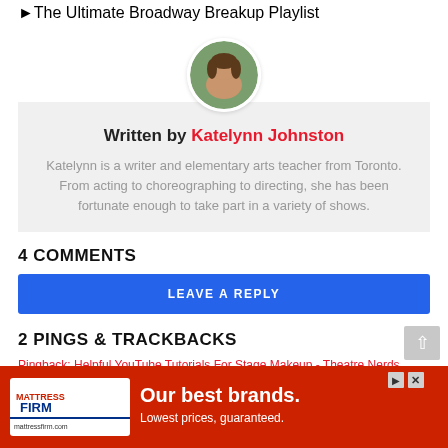The Ultimate Broadway Breakup Playlist
[Figure (photo): Circular profile photo of Katelynn Johnston, a woman with long brown hair outdoors]
Written by Katelynn Johnston
Katelynn is a writer and elementary arts teacher from Toronto. From acting to choreographing to directing, she has been fortunate enough to take part in a variety of shows.
4 COMMENTS
LEAVE A REPLY
2 PINGS & TRACKBACKS
Pingback: Helpful YouTube Tutorials For Stage Makeup - Theatre Nerds
[Figure (screenshot): Mattress Firm advertisement banner: logo on left, 'Our best brands. Lowest prices, guaranteed.' text, red background]